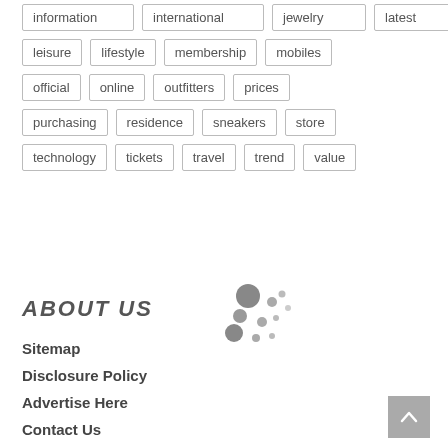information
international
jewelry
latest
leisure
lifestyle
membership
mobiles
official
online
outfitters
prices
purchasing
residence
sneakers
store
technology
tickets
travel
trend
value
ABOUT US
Sitemap
Disclosure Policy
Advertise Here
Contact Us